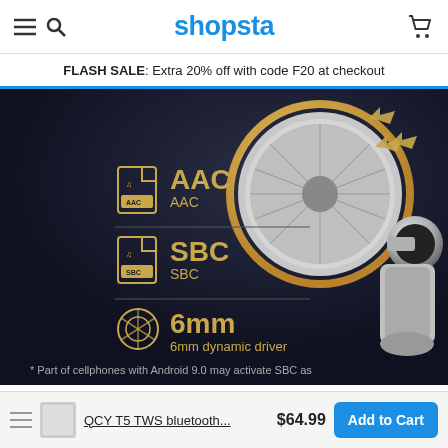shopsta
FLASH SALE: Extra 20% off with code F20 at checkout
[Figure (photo): Close-up product photo of QCY T5 TWS Bluetooth earbuds components on dark background, showing AAC codec, SBC codec, and 6mm dynamic driver features with golden icons and text labels]
QCY T5 TWS bluetooth... $64.99
Add to Cart